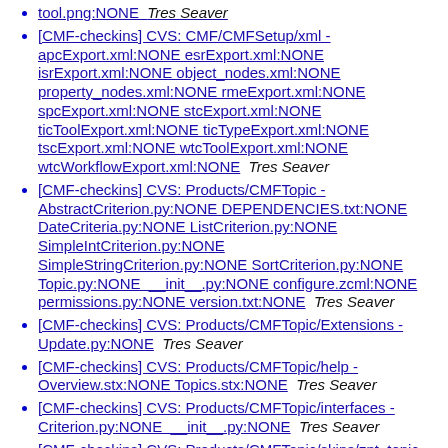tool.png:NONE  Tres Seaver
[CMF-checkins] CVS: CMF/CMFSetup/xml - apcExport.xml:NONE esrExport.xml:NONE isrExport.xml:NONE object_nodes.xml:NONE property_nodes.xml:NONE rmeExport.xml:NONE spcExport.xml:NONE stcExport.xml:NONE ticToolExport.xml:NONE ticTypeExport.xml:NONE tscExport.xml:NONE wtcToolExport.xml:NONE wtcWorkflowExport.xml:NONE  Tres Seaver
[CMF-checkins] CVS: Products/CMFTopic - AbstractCriterion.py:NONE DEPENDENCIES.txt:NONE DateCriteria.py:NONE ListCriterion.py:NONE SimpleIntCriterion.py:NONE SimpleStringCriterion.py:NONE SortCriterion.py:NONE Topic.py:NONE __init__.py:NONE configure.zcml:NONE permissions.py:NONE version.txt:NONE  Tres Seaver
[CMF-checkins] CVS: Products/CMFTopic/Extensions - Update.py:NONE  Tres Seaver
[CMF-checkins] CVS: Products/CMFTopic/help - Overview.stx:NONE Topics.stx:NONE  Tres Seaver
[CMF-checkins] CVS: Products/CMFTopic/interfaces - Criterion.py:NONE __init__.py:NONE  Tres Seaver
[CMF-checkins] CVS: Products/CMFTopic/skins/zpt_topic - friendlydatec_editform.pt:NONE listc_edit.pt:NONE sic_edit.pt:NONE sort_edit.pt:NONE ssc_edit.pt:NONE